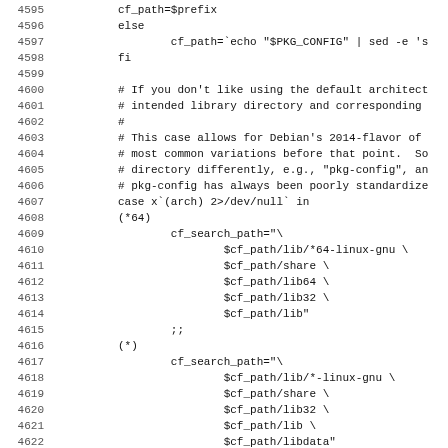Shell script source code lines 4595-4627 showing pkg-config path detection logic with case statement for architecture-based library path selection.